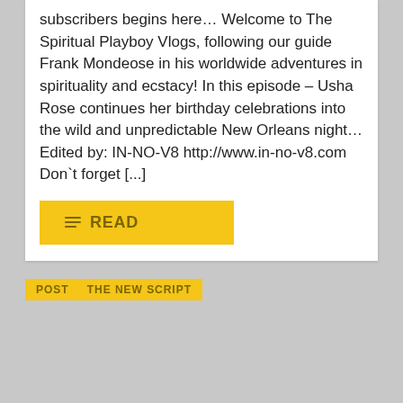subscribers begins here... Welcome to The Spiritual Playboy Vlogs, following our guide Frank Mondeose in his worldwide adventures in spirituality and ecstacy! In this episode – Usha Rose continues her birthday celebrations into the wild and unpredictable New Orleans night... Edited by: IN-NO-V8 http://www.in-no-v8.com Don`t forget [...]
READ
POST  THE NEW SCRIPT
[Figure (photo): A partially visible photograph showing a person wearing a crown/tiara with floral decorations, taken outdoors in a hazy or smoky urban setting with buildings in the background.]